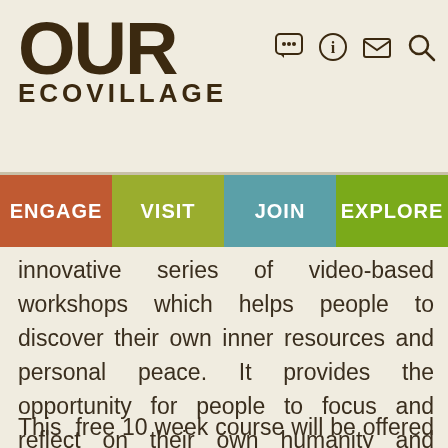OUR ECOVILLAGE
[Figure (logo): OUR ECOVILLAGE website logo with navigation icons (chat, info, mail, search)]
innovative series of video-based workshops which helps people to discover their own inner resources and personal peace. It provides the opportunity for people to focus and reflect on their own humanity and empowers individuals to reach their own understanding.
This  free 10 week course will be offered via Zoom.